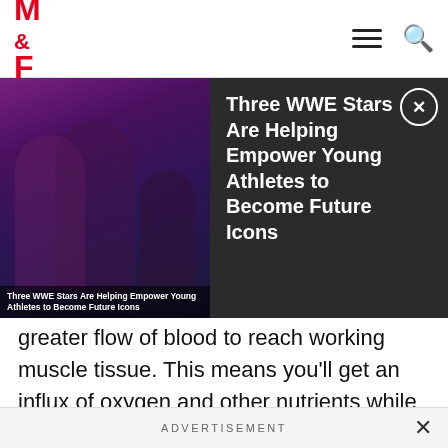M&F logo navigation bar with hamburger menu and search icon
[Figure (screenshot): Dark overlay ad banner with image of WWE performers on the left and headline text 'Three WWE Stars Are Helping Empower Young Athletes to Become Future Icons' on dark background with close button]
greater flow of blood to reach working muscle tissue. This means you'll get an influx of oxygen and other nutrients while you're training, allowing for greater strength and performance, leading to better long-term success. When using citrulline with glutathione, glutathione prevents NO degradation as an antioxidant and forms GSNO that acts as a NO donor, which contributes to
ADVERTISEMENT ×